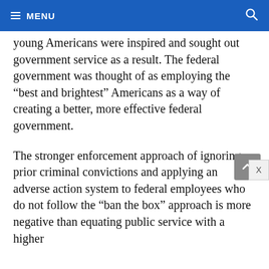MENU
young Americans were inspired and sought out government service as a result. The federal government was thought of as employing the “best and brightest” Americans as a way of creating a better, more effective federal government.
The stronger enforcement approach of ignoring prior criminal convictions and applying an adverse action system to federal employees who do not follow the “ban the box” approach is more negative than equating public service with a higher